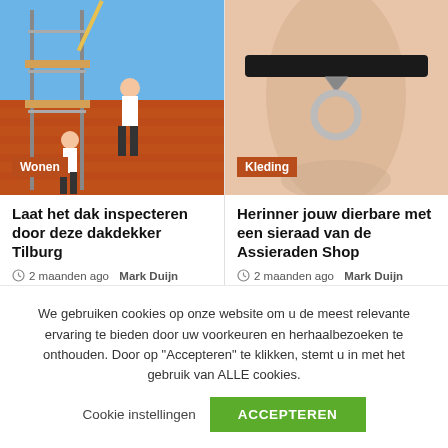[Figure (photo): Construction workers on a rooftop with scaffolding and orange roof tiles against blue sky]
[Figure (photo): Close-up of a person's neck wearing a black choker with a silver ring pendant]
Laat het dak inspecteren door deze dakdekker Tilburg
2 maanden ago  Mark Duijn
Herinner jouw dierbare met een sieraad van de Assieraden Shop
2 maanden ago  Mark Duijn
We gebruiken cookies op onze website om u de meest relevante ervaring te bieden door uw voorkeuren en herhaalbezoeken te onthouden. Door op "Accepteren" te klikken, stemt u in met het gebruik van ALLE cookies.
Cookie instellingen
ACCEPTEREN